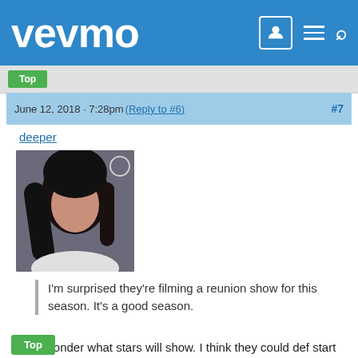vevmo
June 12, 2018 - 7:28pm (Reply to #6) #7
deeper
[Figure (photo): User avatar photo showing a woman with dark hair]
I'm surprised they're filming a reunion show for this season. It's a good season.
Yeah, wonder what stars will show. I think they could def start casting a few Stars and I wouldn't be mad. Brooke, Louise, etc. would be interesting to watch on a real Challenge.
Top